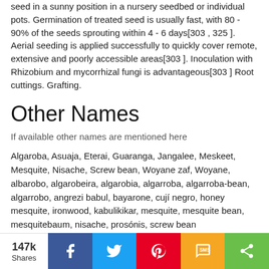seed in a sunny position in a nursery seedbed or individual pots. Germination of treated seed is usually fast, with 80 - 90% of the seeds sprouting within 4 - 6 days[303 , 325 ]. Aerial seeding is applied successfully to quickly cover remote, extensive and poorly accessible areas[303 ]. Inoculation with Rhizobium and mycorrhizal fungi is advantageous[303 ] Root cuttings. Grafting.
Other Names
If available other names are mentioned here
Algaroba, Asuaja, Eterai, Guaranga, Jangalee, Meskeet, Mesquite, Nisache, Screw bean, Woyane zaf, Woyane, albarobo, algarobeira, algarobia, algarroba, algarroba-bean, algarrobo, angrezi babul, bayarone, cují negro, honey mesquite, ironwood, kabulikikar, mesquite, mesquite bean, mesquitebaum, nisache, prosónis, screw bean
147k Shares